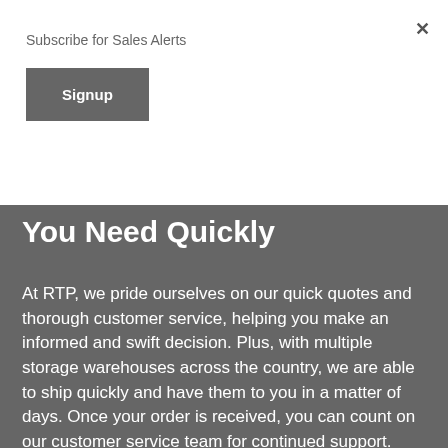Subscribe for Sales Alerts
Signup
You Need Quickly
At RTP, we pride ourselves on our quick quotes and thorough customer service, helping you make an informed and swift decision. Plus, with multiple storage warehouses across the country, we are able to ship quickly and have them to you in a matter of days. Once your order is received, you can count on our customer service team for continued support.